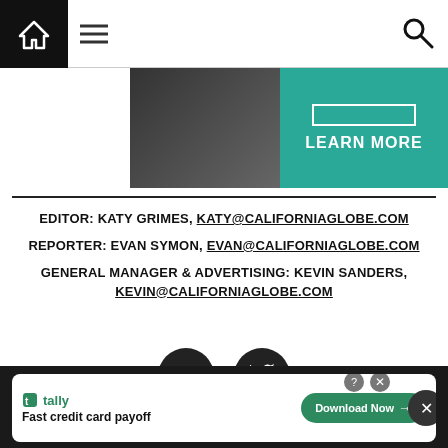Navigation bar with home, menu, and search icons
[Figure (photo): Banner advertisement with a person in suit on left and teal LEARN MORE button on right]
EDITOR: KATY GRIMES, KATY@CALIFORNIAGLOBE.COM
REPORTER: EVAN SYMON, EVAN@CALIFORNIAGLOBE.COM
GENERAL MANAGER & ADVERTISING: KEVIN SANDERS, KEVIN@CALIFORNIAGLOBE.COM
[Figure (illustration): Facebook and Twitter social media icon circles]
[Figure (screenshot): Tally advertisement banner: Fast credit card payoff, Download Now button]